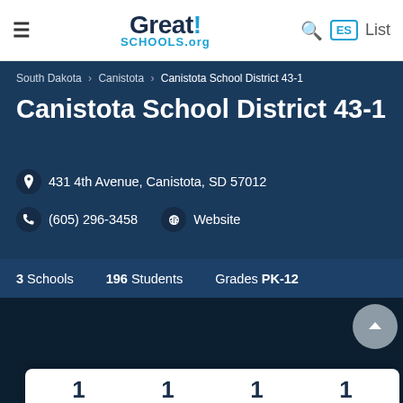Great!SCHOOLS.org
South Dakota > Canistota > Canistota School District 43-1
Canistota School District 43-1
431 4th Avenue, Canistota, SD 57012
(605) 296-3458   Website
3 Schools   196 Students   Grades PK-12
1  1  1  1